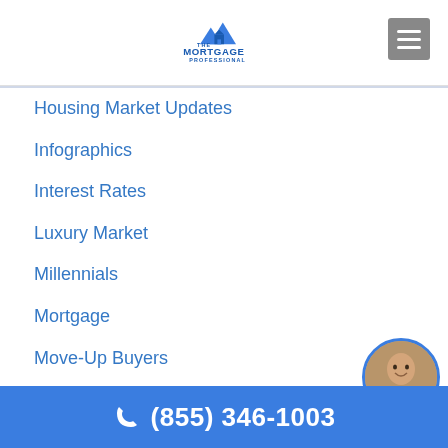[Figure (logo): The Mortgage Professional logo with house/mountain icon and text]
Housing Market Updates
Infographics
Interest Rates
Luxury Market
Millennials
Mortgage
Move-Up Buyers
New Construction
Pricing
Renters vs. Buyers
(855) 346-1003